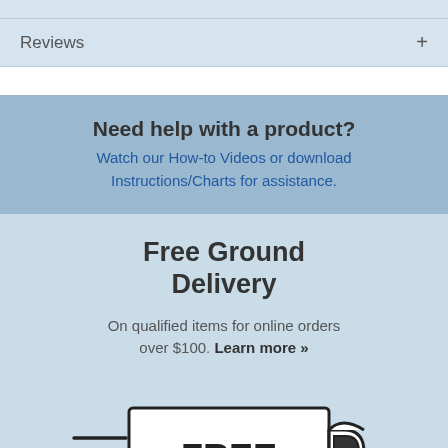Reviews +
Need help with a product? Watch our How-to Videos or download Instructions/Charts for assistance.
Free Ground Delivery
On qualified items for online orders over $100. Learn more »
[Figure (illustration): Illustration of a delivery truck with 'FREE' written on its side, speeding lines on the left indicating motion]